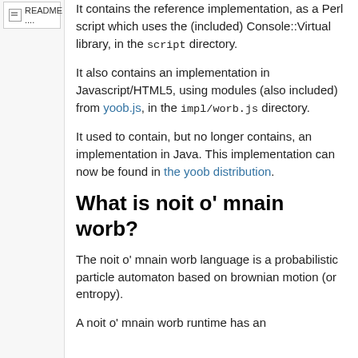README....
It contains the reference implementation, as a Perl script which uses the (included) Console::Virtual library, in the script directory.
It also contains an implementation in Javascript/HTML5, using modules (also included) from yoob.js, in the impl/worb.js directory.
It used to contain, but no longer contains, an implementation in Java. This implementation can now be found in the yoob distribution.
What is noit o' mnain worb?
The noit o' mnain worb language is a probabilistic particle automaton based on brownian motion (or entropy).
A noit o' mnain worb runtime has an